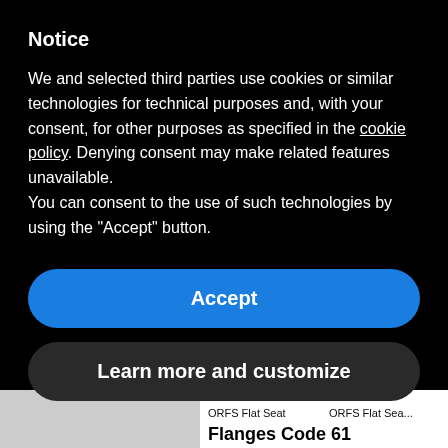Notice
We and selected third parties use cookies or similar technologies for technical purposes and, with your consent, for other purposes as specified in the cookie policy. Denying consent may make related features unavailable.
You can consent to the use of such technologies by using the “Accept” button.
Accept
Learn more and customize
ORFS Flat Seat Female Swivel
ORFS Flat Sea... Back Hexagon
Flanges Code 61